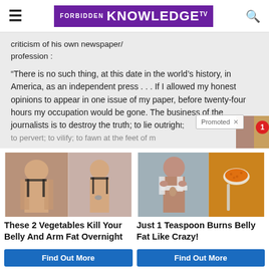FORBIDDEN KNOWLEDGE TV
criticism of his own newspaper/ profession :
“There is no such thing, at this date in the world’s history, in America, as an independent press . . . If I allowed my honest opinions to appear in one issue of my paper, before twenty-four hours my occupation would be gone. The business of the journalists is to destroy the truth; to lie outright; to pervert; to vilify; to fawn at the feet of m…
[Figure (photo): Before and after weight loss photo of a woman in black bra from behind]
These 2 Vegetables Kill Your Belly And Arm Fat Overnight
Find Out More
[Figure (photo): Woman holding shirt up and a spoon with orange spice]
Just 1 Teaspoon Burns Belly Fat Like Crazy!
Find Out More